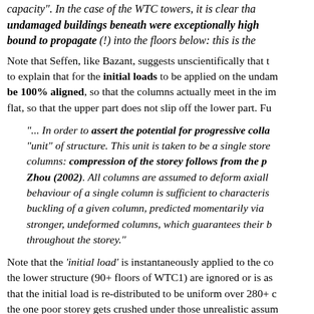capacity". In the case of the WTC towers, it is clear that the undamaged buildings beneath were exceptionally high and bound to propagate (!) into the floors below: this is the
Note that Seffen, like Bazant, suggests unscientifically that the to explain that for the initial loads to be applied on the undamaged be 100% aligned, so that the columns actually meet in the initial flat, so that the upper part does not slip off the lower part. Furthermore
"... In order to assert the potential for progressive collapse "unit" of structure. This unit is taken to be a single storey columns: compression of the storey follows from the process of Zhou (2002). All columns are assumed to deform axially, so behaviour of a single column is sufficient to characterise buckling of a given column, predicted momentarily via stronger, undeformed columns, which guarantees their behaviour throughout the storey."
Note that the 'initial load' is instantaneously applied to the collapsed the lower structure (90+ floors of WTC1) are ignored or is assumed that the initial load is re-distributed to be uniform over 280+ columns the one poor storey gets crushed under those unrealistic assumptions